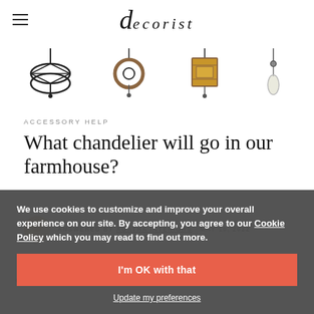decorist
[Figure (photo): Four chandelier product images shown in a horizontal strip: a black cage-style pendant, a round wood/metal pendant, a square lantern-style pendant, and a small glass drop pendant.]
ACCESSORY HELP
What chandelier will go in our farmhouse?
ANSWERED BY AGATHA INTERIORS · MAY 10, 2022
Thanks for visiting the Design Bar for interior design
chandelier for your home. What a gorgeous room w...
We use cookies to customize and improve your overall experience on our site. By accepting, you agree to our Cookie Policy which you may read to find out more.
I'm OK with that
Update my preferences